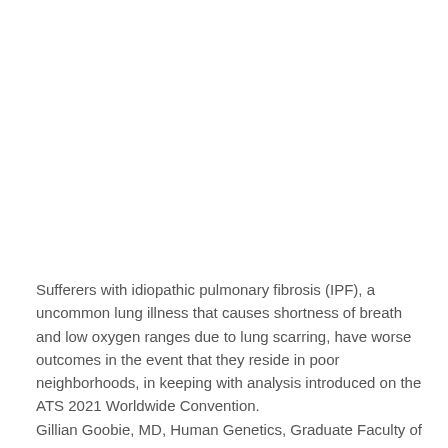Sufferers with idiopathic pulmonary fibrosis (IPF), a uncommon lung illness that causes shortness of breath and low oxygen ranges due to lung scarring, have worse outcomes in the event that they reside in poor neighborhoods, in keeping with analysis introduced on the ATS 2021 Worldwide Convention.
Gillian Goobie, MD, Human Genetics, Graduate Faculty of